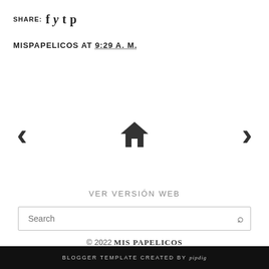SHARE: f y t p
MISPAPELICOS AT 9:29 A. M.
[Figure (other): Navigation bar with left arrow, home icon, and right arrow]
VER VERSIÓN WEB
Search
© 2022 MIS PAPELICOS
BLOGGER TEMPLATE CREATED BY pipdig